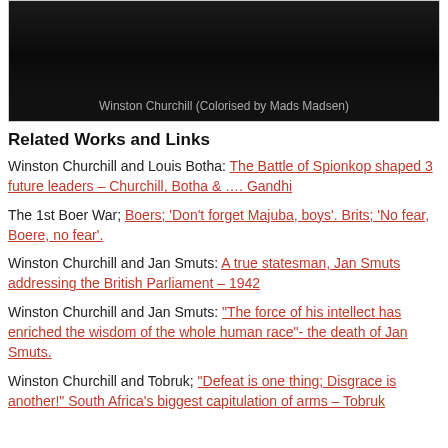[Figure (photo): Dark photograph showing Winston Churchill, colorised by Mads Madsen]
Winston Churchill (Colorised by Mads Madsen)
Related Works and Links
Winston Churchill and Louis Botha: The Battle of Spionkop shaped 3 future leaders – Churchill, Botha & …. Gandhi
The 1st Boer War; Boers; 'Don't forget Majuba, boys'. Brits; 'No fear, Boere, no fear'.
Winston Churchill and Jan Smuts: A true statesman, Jan Smuts addressing the British Parliament – 1942
Winston Churchill and Jan Smuts: "The force of his intellect has enriched the wisdom of the whole human race"- the death of Jan Smuts.
Winston Churchill and Tobruk; "Defeat is one thing; Disgrace is another!" South Africa's biggest capitulation of arms – Tobruk